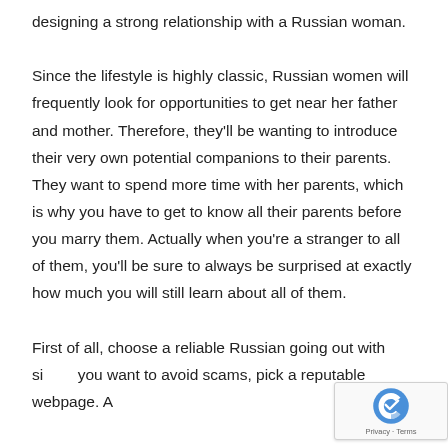designing a strong relationship with a Russian woman.

Since the lifestyle is highly classic, Russian women will frequently look for opportunities to get near her father and mother. Therefore, they'll be wanting to introduce their very own potential companions to their parents. They want to spend more time with her parents, which is why you have to get to know all their parents before you marry them. Actually when you're a stranger to all of them, you'll be sure to always be surprised at exactly how much you will still learn about all of them.

First of all, choose a reliable Russian going out with si... you want to avoid scams, pick a reputable webpage. A...